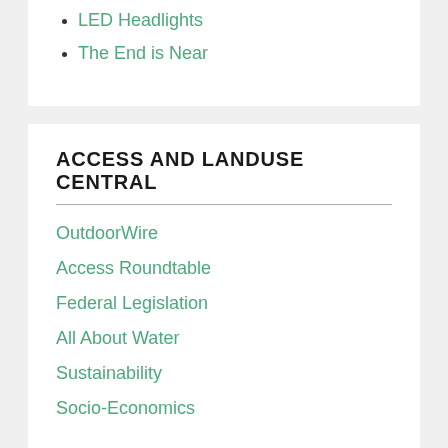LED Headlights
The End is Near
ACCESS AND LANDUSE CENTRAL
OutdoorWire
Access Roundtable
Federal Legislation
All About Water
Sustainability
Socio-Economics